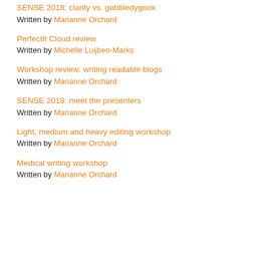SENSE 2018: clarity vs. gobbledygook
Written by Marianne Orchard
PerfectIt Cloud review
Written by Michelle Luijben-Marks
Workshop review: writing readable blogs
Written by Marianne Orchard
SENSE 2018: meet the presenters
Written by Marianne Orchard
Light, medium and heavy editing workshop
Written by Marianne Orchard
Medical writing workshop
Written by Marianne Orchard